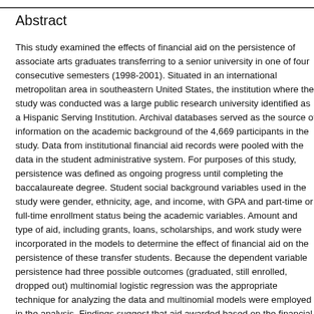Abstract
This study examined the effects of financial aid on the persistence of associate arts graduates transferring to a senior university in one of four consecutive semesters (1998-2001). Situated in an international metropolitan area in southeastern United States, the institution where the study was conducted was a large public research university identified as a Hispanic Serving Institution. Archival databases served as the source of information on the academic background of the 4,669 participants in the study. Data from institutional financial aid records were pooled with the data in the student administrative system. For purposes of this study, persistence was defined as ongoing progress until completing the baccalaureate degree. Student social background variables used in the study were gender, ethnicity, age, and income, with GPA and part-time or full-time enrollment status being the academic variables. Amount and type of aid, including grants, loans, scholarships, and work study were incorporated in the models to determine the effect of financial aid on the persistence of these transfer students. Because the dependent variable persistence had three possible outcomes (graduated, still enrolled, dropped out) multinomial logistic regression was the appropriate technique for analyzing the data and multinomial models were employed in the analysis. Findings suggest that aid awarded based on the financial need of students and loans were effective